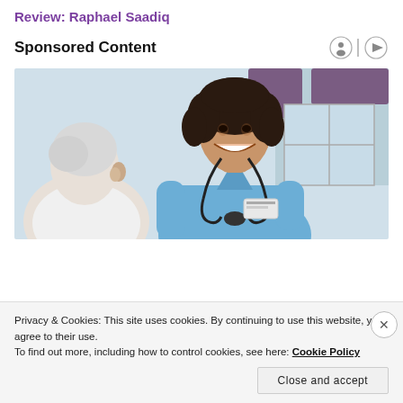Review: Raphael Saadiq
Sponsored Content
[Figure (photo): A smiling female nurse in blue scrubs with a stethoscope talking with an elderly white-haired male patient in a medical/home care setting]
Privacy & Cookies: This site uses cookies. By continuing to use this website, you agree to their use.
To find out more, including how to control cookies, see here: Cookie Policy
Close and accept